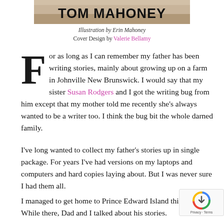[Figure (illustration): Top portion of a book cover showing 'TOM MAHONEY' text over an illustrated background with farm/rural scene]
Illustration by Erin Mahoney
Cover Design by Valerie Bellamy
For as long as I can remember my father has been writing stories, mainly about growing up on a farm in Johnville New Brunswick. I would say that my sister Susan Rodgers and I got the writing bug from him except that my mother told me recently she’s always wanted to be a writer too. I think the bug bit the whole darned family.
I’ve long wanted to collect my father’s stories up in single package. For years I’ve had versions on my laptops and computers and hard copies laying about. But I was never sure I had them all.
I managed to get home to Prince Edward Island this summer. While there, Dad and I talked about his stories.